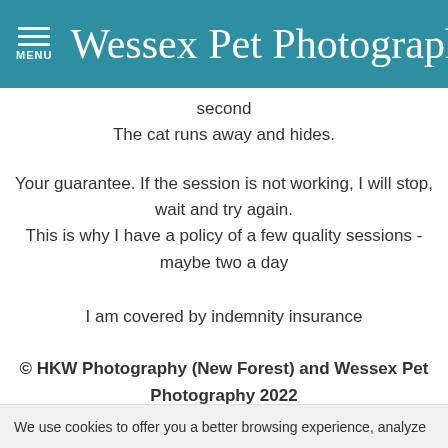Wessex Pet Photography
second
The cat runs away and hides.
Your guarantee. If the session is not working, I will stop, wait and try again.
This is why I have a policy of a few quality sessions - maybe two a day
I am covered by indemnity insurance
© HKW Photography (New Forest) and Wessex Pet Photography 2022
(Howard Kenneth Woolford, proprietor)
We use cookies to offer you a better browsing experience, analyze